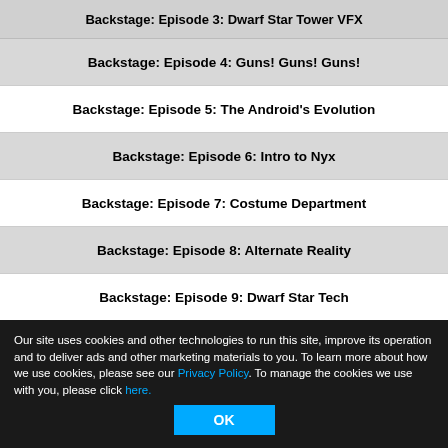Backstage: Episode 3: Dwarf Star Tower VFX
Backstage: Episode 4: Guns! Guns! Guns!
Backstage: Episode 5: The Android's Evolution
Backstage: Episode 6: Intro to Nyx
Backstage: Episode 7: Costume Department
Backstage: Episode 8: Alternate Reality
Backstage: Episode 9: Dwarf Star Tech
Backstage: Episode 10: Who's In Charge
Backstage: Episode 11: Season 2 Sets/The Market
Our site uses cookies and other technologies to run this site, improve its operation and to deliver ads and other marketing materials to you. To learn more about how we use cookies, please see our Privacy Policy. To manage the cookies we use with you, please click here.
OK